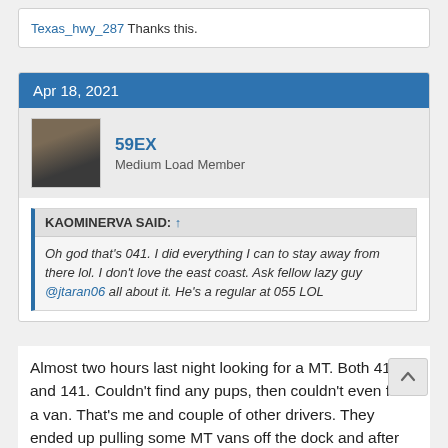Texas_hwy_287 Thanks this.
Apr 18, 2021
59EX
Medium Load Member
KAOMINERVA SAID: ↑
Oh god that's 041. I did everything I can to stay away from there lol. I don't love the east coast. Ask fellow lazy guy @jtaran06 all about it. He's a regular at 055 LOL
Almost two hours last night looking for a MT. Both 41 and 141. Couldn't find any pups, then couldn't even find a van. That's me and couple of other drivers. They ended up pulling some MT vans off the dock and after looking for a act of trailers that control gave me @41 that apparently